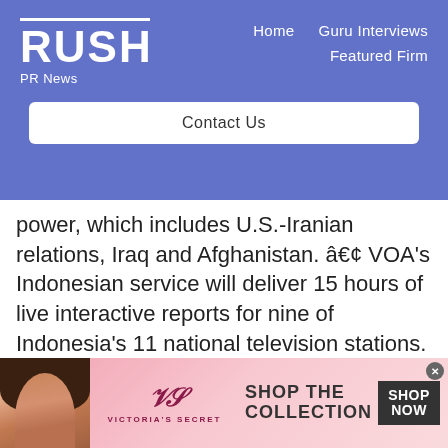RUSH PR News — Home | Guru Interviews | Featured Firm
Contact Us
power, which includes U.S.-Iranian relations, Iraq and Afghanistan. â€¢ VOA's Indonesian service will deliver 15 hours of live interactive reports for nine of Indonesia's 11 national television stations. Radio reporters will have question-and-answer programs with Radio 68H
[Figure (photo): Victoria's Secret advertisement banner with model, VS logo, 'SHOP THE COLLECTION' text, and 'SHOP NOW' button]